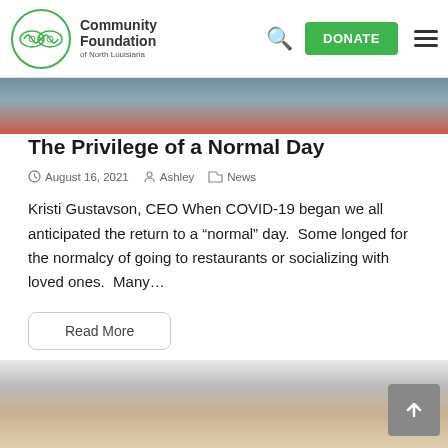Community Foundation of North Louisiana — DONATE navigation header
[Figure (photo): Top image strip showing people, partially cut off at top of page]
The Privilege of a Normal Day
August 16, 2021   Ashley   News
Kristi Gustavson, CEO When COVID-19 began we all anticipated the return to a “normal” day.  Some longed for the normalcy of going to restaurants or socializing with loved ones.  Many…
Read More
[Figure (photo): Bottom image strip showing children/people, partially cut off at bottom of page]